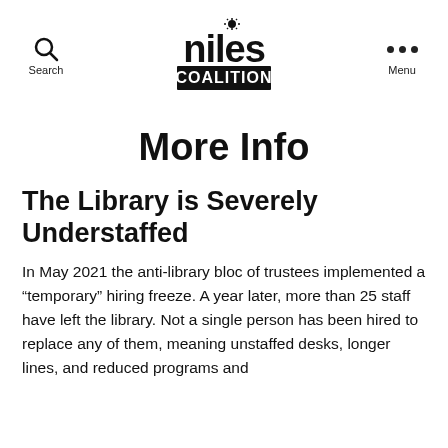Search | Niles Coalition | Menu
More Info
The Library is Severely Understaffed
In May 2021 the anti-library bloc of trustees implemented a “temporary” hiring freeze. A year later, more than 25 staff have left the library. Not a single person has been hired to replace any of them, meaning unstaffed desks, longer lines, and reduced programs and